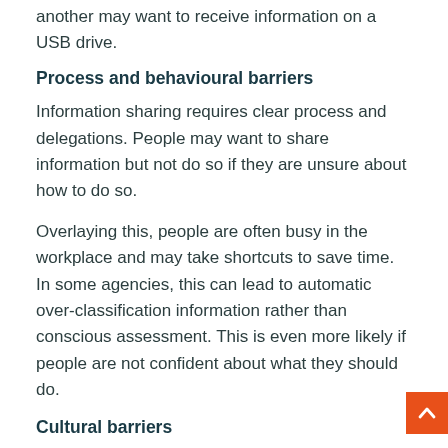another may want to receive information on a USB drive.
Process and behavioural barriers
Information sharing requires clear process and delegations. People may want to share information but not do so if they are unsure about how to do so.
Overlaying this, people are often busy in the workplace and may take shortcuts to save time. In some agencies, this can lead to automatic over-classification information rather than conscious assessment. This is even more likely if people are not confident about what they should do.
Cultural barriers